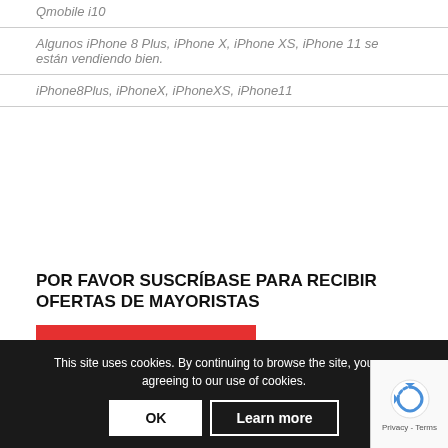Qmobile i10
Algunos iPhone 8 Plus, iPhone X, iPhone XS, iPhone 11 se están vendiendo bien.
iPhone8Plus, iPhoneX, iPhoneXS, iPhone11
POR FAVOR SUSCRÍBASE PARA RECIBIR OFERTAS DE MAYORISTAS
[Figure (other): Red button labeled 'Hacer Click']
[Figure (other): Orange circle with chat/block icon]
This site uses cookies. By continuing to browse the site, you are agreeing to our use of cookies.
[Figure (other): reCAPTCHA logo with Privacy - Terms text]